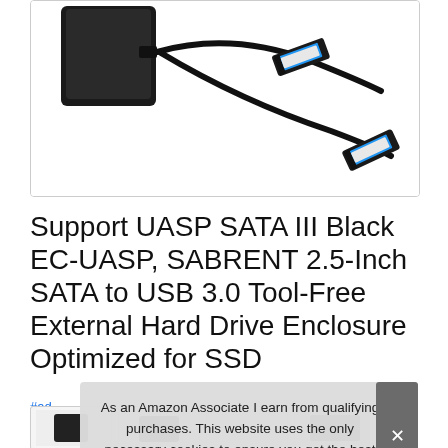[Figure (photo): Product photo of a SABRENT 2.5-inch SATA to USB 3.0 external hard drive enclosure with two USB 3.0 cables (blue connectors) shown on white background]
Support UASP SATA III Black EC-UASP, SABRENT 2.5-Inch SATA to USB 3.0 Tool-Free External Hard Drive Enclosure Optimized for SSD
#ad
As an Amazon Associate I earn from qualifying purchases. This website uses the only necessary cookies to ensure you get the best experience on our website. More information